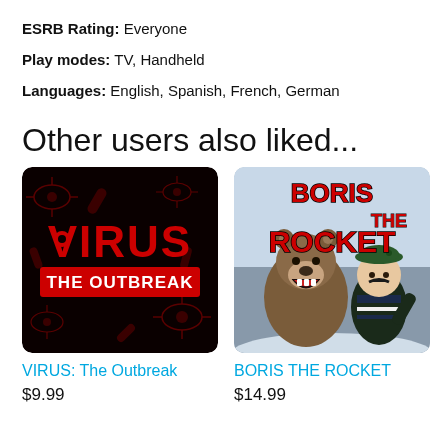ESRB Rating: Everyone
Play modes: TV, Handheld
Languages: English, Spanish, French, German
Other users also liked...
[Figure (photo): Game cover art for VIRUS: The Outbreak — black background with red virus imagery and text 'VIRUS THE OUTBREAK']
[Figure (photo): Game cover art for BORIS THE ROCKET — shows animated bear and soldier character with red title text on wintry background]
VIRUS: The Outbreak
$9.99
BORIS THE ROCKET
$14.99